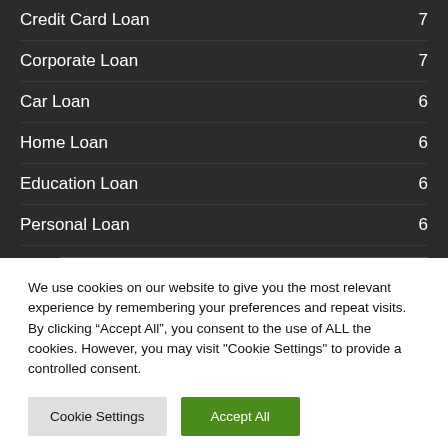Credit Card Loan 7
Corporate Loan 7
Car Loan 6
Home Loan 6
Education Loan 6
Personal Loan 6
We use cookies on our website to give you the most relevant experience by remembering your preferences and repeat visits. By clicking “Accept All”, you consent to the use of ALL the cookies. However, you may visit "Cookie Settings" to provide a controlled consent.